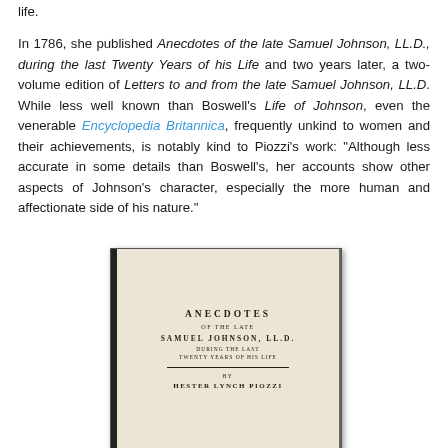life.
In 1786, she published Anecdotes of the late Samuel Johnson, LL.D., during the last Twenty Years of his Life and two years later, a two-volume edition of Letters to and from the late Samuel Johnson, LL.D. While less well known than Boswell's Life of Johnson, even the venerable Encyclopedia Britannica, frequently unkind to women and their achievements, is notably kind to Piozzi's work: "Although less accurate in some details than Boswell's, her accounts show other aspects of Johnson's character, especially the more human and affectionate side of his nature."
[Figure (photo): Title page of 'Anecdotes of the Late Samuel Johnson, LL.D. During the Last Twenty Years of His Life' by Hester Lynch Piozzi, showing the book's title page in aged typography on yellowed paper with a dark binding visible on the left.]